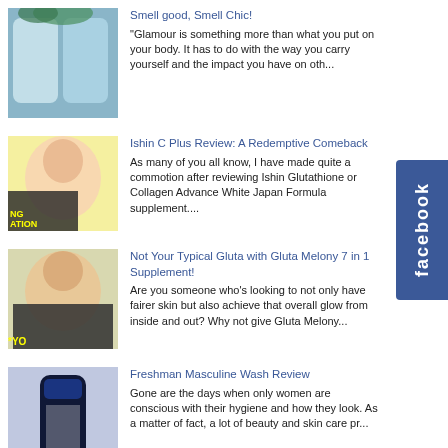Smell good, Smell Chic! — "Glamour is something more than what you put on your body. It has to do with the way you carry yourself and the impact you have on oth...
Ishin C Plus Review: A Redemptive Comeback — As many of you all know, I have made quite a commotion after reviewing Ishin Glutathione or Collagen Advance White Japan Formula supplement....
Not Your Typical Gluta with Gluta Melony 7 in 1 Supplement! — Are you someone who's looking to not only have fairer skin but also achieve that overall glow from inside and out? Why not give Gluta Melony...
Freshman Masculine Wash Review — Gone are the days when only women are conscious with their hygiene and how they look. As a matter of fact, a lot of beauty and skin care pr...
Waterproof Black Shoes: Easysoft Review — Monsoon season is in full swing! Office
[Figure (screenshot): Facebook sidebar tab with white text 'facebook' written vertically]